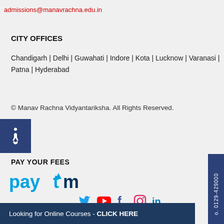admissions@manavrachna.edu.in
CITY OFFICES
Chandigarh | Delhi | Guwahati | Indore | Kota | Lucknow | Varanasi | Patna | Hyderabad
© Manav Rachna Vidyantariksha. All Rights Reserved.
[Figure (illustration): Accessibility icon - wheelchair symbol on dark blue background]
PAY YOUR FEES
[Figure (logo): Paytm logo in blue and red colors]
[Figure (infographic): Social media icons: Twitter, YouTube, Facebook, Instagram, LinkedIn]
o. 0129-429000
Looking for Online Courses - CLICK HERE